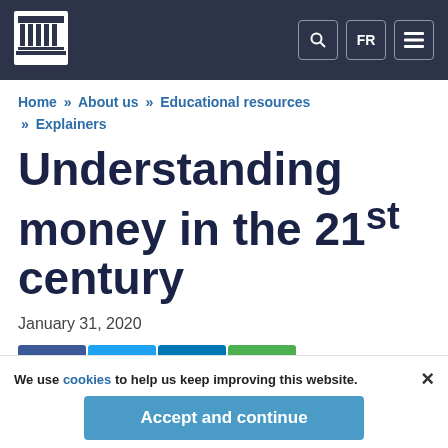[Figure (logo): Bank of Canada logo — white building/column icon in dark navy navigation bar]
Home » About us » Educational resources » Explainers
Understanding money in the 21st century
January 31, 2020
[Figure (infographic): Social share buttons: Facebook (blue), Twitter (light blue), LinkedIn (dark blue), Email (green)]
We use cookies to help us keep improving this website.
Accept and continue